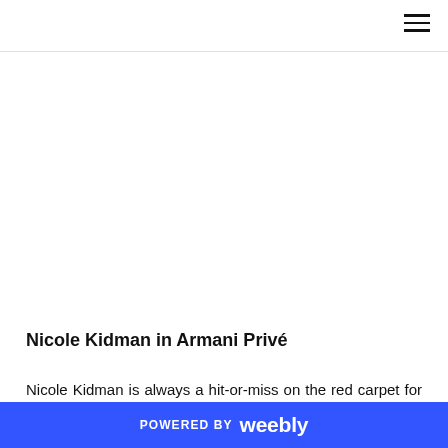Nicole Kidman in Armani Privé
Nicole Kidman is always a hit-or-miss on the red carpet for me, and this one was a MASSIVE HIT! It takes someone with Nicole's stature to pull off this type of dramatic gown, and everything from her hair to her
POWERED BY weebly